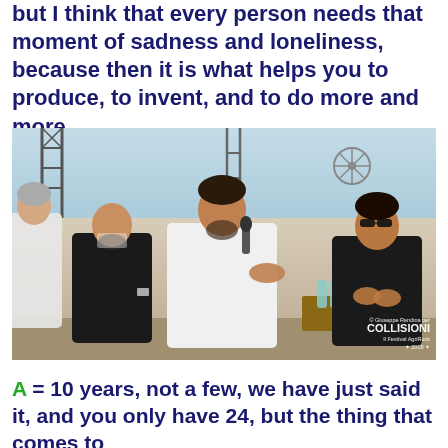but I think that every person needs that moment of sadness and loneliness, because then it is what helps you to produce, to invent, and to do more and more.
[Figure (photo): Panel discussion on an outdoor stage. Several young men seated, one speaking into a microphone wearing a white t-shirt, others in black. Scaffolding and blue sky in background. Photo credit: Giuseppe Rendina per COLLISIONI Il Festival AgriRock 2018.]
A = 10 years, not a few, we have just said it, and you only have 24, but the thing that comes to